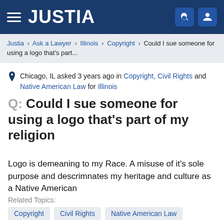JUSTIA
Justia > Ask a Lawyer > Illinois > Copyright > Could I sue someone for using a logo that's part...
Chicago, IL asked 3 years ago in Copyright, Civil Rights and Native American Law for Illinois
Q: Could I sue someone for using a logo that's part of my religion
Logo is demeaning to my Race. A misuse of it's sole purpose and descrimnates my heritage and culture as a Native American
Related Topics:
Copyright
Civil Rights
Native American Law